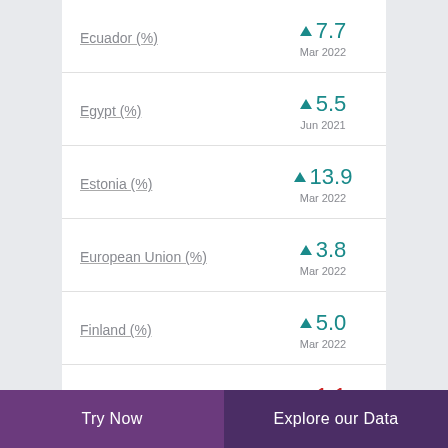Ecuador (%) ▲ 7.7 Mar 2022
Egypt (%) ▲ 5.5 Jun 2021
Estonia (%) ▲ 13.9 Mar 2022
European Union (%) ▲ 3.8 Mar 2022
Finland (%) ▲ 5.0 Mar 2022
France (%) ▼ 1.1
Try Now    Explore our Data